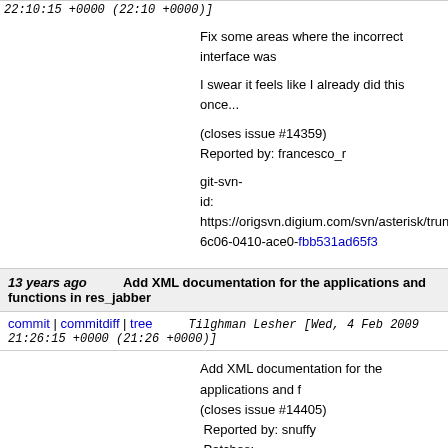22:10:15 +0000 (22:10 +0000)]
Fix some areas where the incorrect interface was

I swear it feels like I already did this once...

(closes issue #14359)
Reported by: francesco_r

git-svn-
id: https://origsvn.digium.com/svn/asterisk/trunk@
6c06-0410-ace0-fbb531ad65f3
13 years ago   Add XML documentation for the applications and functions in res_jabber
commit | commitdiff | tree   Tilghman Lesher [Wed, 4 Feb 2009 21:26:15 +0000 (21:26 +0000)]
Add XML documentation for the applications and f
(closes issue #14405)
 Reported by: snuffy
 Patches:
    xml_jabber.diff uploaded by snuffy (license 35

git-svn-
id: https://origsvn.digium.com/svn/asterisk/trunk@
6c06-0410-ace0-fbb531ad65f3